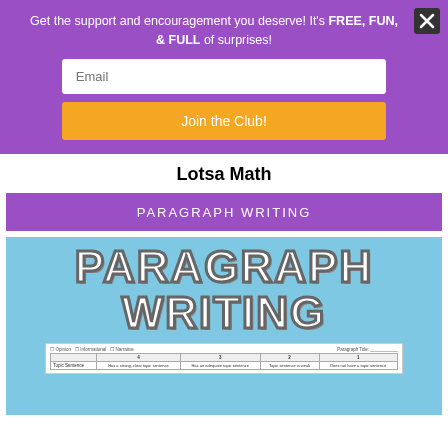Get the support and encouragement you deserve! It's FREE, FUN, & FULL of surprises!
Email
Join the Club!
Lotsa Math
PARAGRAPH WRITING
[Figure (illustration): Blue background image with large bold white text reading PARAGRAPH WRITING in blocky outlined letters, with a small worksheet table at the bottom showing checkbox options for Opinion, Informational, Narrative and a paragraph writing rubric table.]